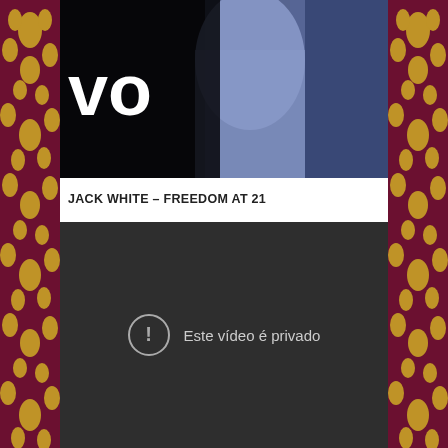[Figure (photo): Video thumbnail showing a person in blue/light clothing with 'vo' text overlay (partial Vevo logo), dark background]
JACK WHITE – FREEDOM AT 21
[Figure (screenshot): Dark video player showing 'Este vídeo é privado' (This video is private) message with a circle exclamation icon]